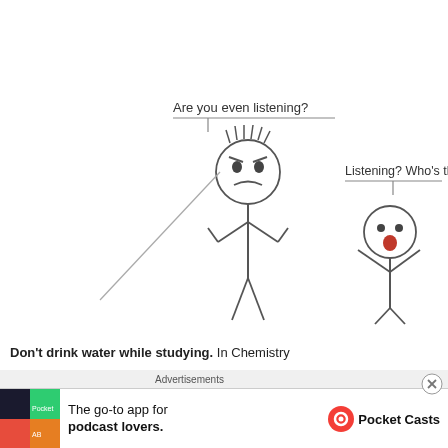[Figure (illustration): Comic illustration of two stick figures. Left figure has spiky hair and an angry expression with arms on hips, with speech bubble text 'Are you even listening?' and a tail line. Right figure is oblivious with mouth open and hands raised, with speech bubble text 'Listening? Who’s that?']
Don’t drink water while studying. In Chemistry
Advertisements
[Figure (other): Pocket Casts advertisement banner: 'The go-to app for podcast lovers.' with Pocket Casts logo]